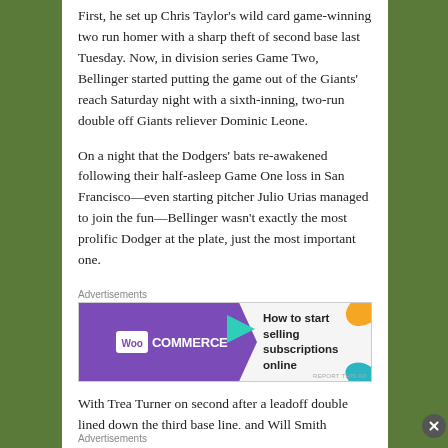First, he set up Chris Taylor's wild card game-winning two run homer with a sharp theft of second base last Tuesday. Now, in division series Game Two, Bellinger started putting the game out of the Giants' reach Saturday night with a sixth-inning, two-run double off Giants reliever Dominic Leone.
On a night that the Dodgers' bats re-awakened following their half-asleep Game One loss in San Francisco—even starting pitcher Julio Urias managed to join the fun—Bellinger wasn't exactly the most prolific Dodger at the plate, just the most important one.
Advertisements
[Figure (other): WooCommerce advertisement banner: purple background on left with WooCommerce logo and arrow shape, white right side with text 'How to start selling subscriptions online', decorative orange and teal leaf shapes in top-right and bottom-right corners.]
With Trea Turner on second after a leadoff double lined down the third base line, and Will Smith walking
Advertisements